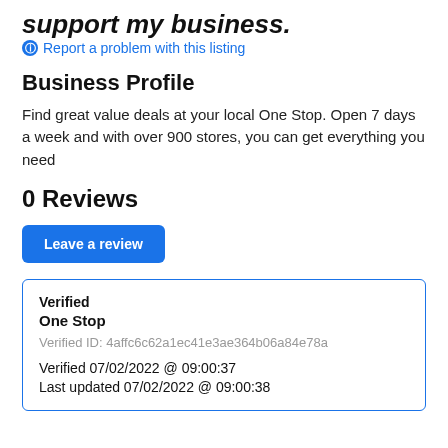support my business.
Report a problem with this listing
Business Profile
Find great value deals at your local One Stop. Open 7 days a week and with over 900 stores, you can get everything you need
0 Reviews
Leave a review
Verified
One Stop
Verified ID: 4affc6c62a1ec41e3ae364b06a84e78a
Verified 07/02/2022 @ 09:00:37
Last updated 07/02/2022 @ 09:00:38